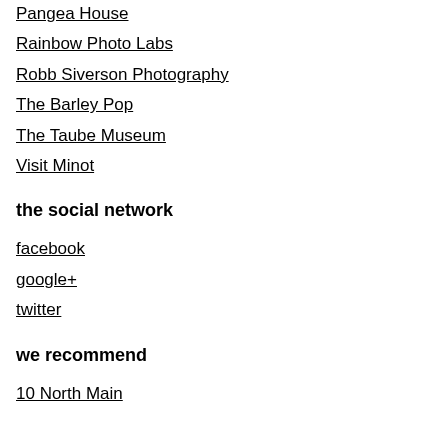Pangea House
Rainbow Photo Labs
Robb Siverson Photography
The Barley Pop
The Taube Museum
Visit Minot
the social network
facebook
google+
twitter
we recommend
10 North Main